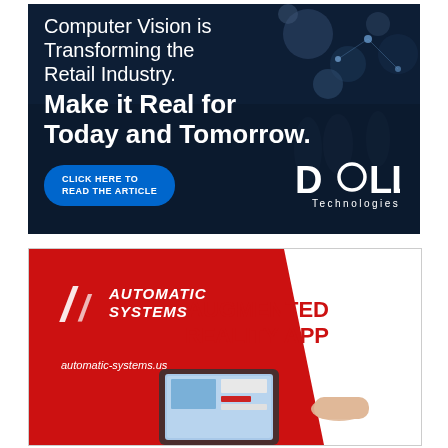[Figure (photo): Dell Technologies advertisement with dark blue retail store background. Text reads: 'Computer Vision is Transforming the Retail Industry. Make it Real for Today and Tomorrow.' with a blue 'CLICK HERE TO READ THE ARTICLE' button and Dell Technologies logo.]
[Figure (photo): Automatic Systems advertisement with red and white design. Shows 'AUTOMATIC SYSTEMS' logo, 'AUGMENTED REALITY APP' text in red, 'automatic-systems.us' URL, and a hand holding a smartphone showing AR content.]